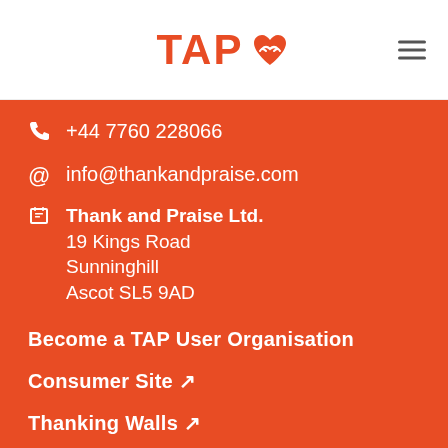TAP (logo with heart/hands icon)
+44 7760 228066
info@thankandpraise.com
Thank and Praise Ltd.
19 Kings Road
Sunninghill
Ascot SL5 9AD
Become a TAP User Organisation
Consumer Site ↗
Thanking Walls ↗